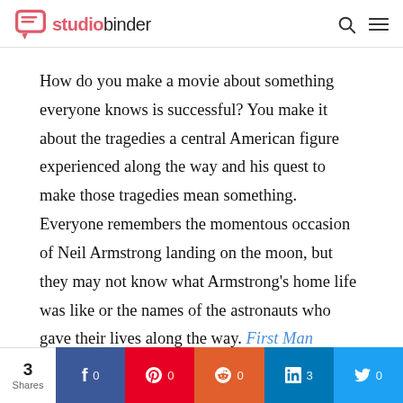studiobinder
How do you make a movie about something everyone knows is successful? You make it about the tragedies a central American figure experienced along the way and his quest to make those tragedies mean something. Everyone remembers the momentous occasion of Neil Armstrong landing on the moon, but they may not know what Armstrong's home life was like or the names of the astronauts who gave their lives along the way. First Man becomes a critical look at our history...
3 Shares | Facebook 0 | Pinterest 0 | Reddit 0 | LinkedIn 3 | Twitter 0